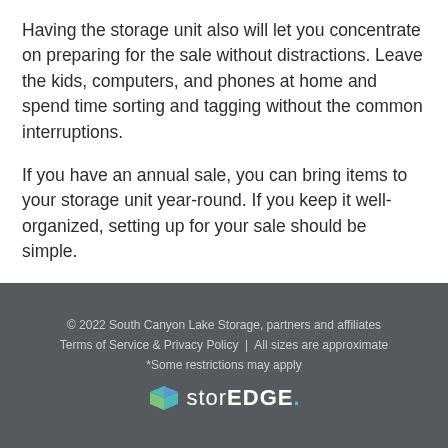Having the storage unit also will let you concentrate on preparing for the sale without distractions. Leave the kids, computers, and phones at home and spend time sorting and tagging without the common interruptions.
If you have an annual sale, you can bring items to your storage unit year-round. If you keep it well-organized, setting up for your sale should be simple.
© 2022 South Canyon Lake Storage, partners and affiliates
Terms of Service & Privacy Policy  |  All sizes are approximate
*Some restrictions may apply